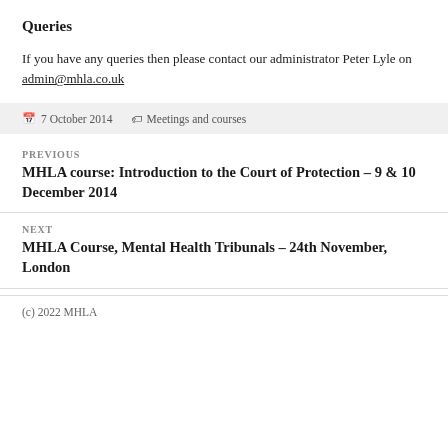Queries
If you have any queries then please contact our administrator Peter Lyle on admin@mhla.co.uk
7 October 2014  Meetings and courses
PREVIOUS
MHLA course: Introduction to the Court of Protection – 9 & 10 December 2014
NEXT
MHLA Course, Mental Health Tribunals – 24th November, London
(c) 2022 MHLA